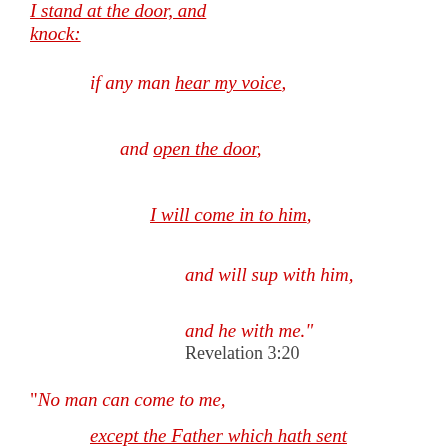I stand at the door, and knock:
if any man hear my voice,
and open the door,
I will come in to him,
and will sup with him,
and he with me." Revelation 3:20
“No man can come to me,
except the Father which hath sent me